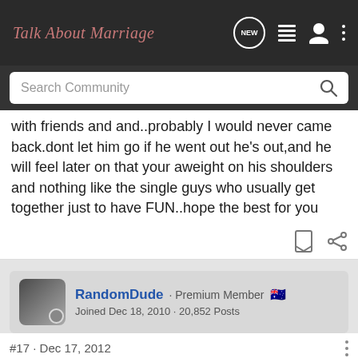Talk About Marriage
Search Community
with friends and and..probably I would never came back.dont let him go if he went out he's out,and he will feel later on that your aweight on his shoulders and nothing like the single guys who usually get together just to have FUN..hope the best for you
RandomDude · Premium Member
Joined Dec 18, 2010 · 20,852 Posts
#17 · Dec 17, 2012
My wife and I still lived a young adulthood life during marriage, it's not as often as we like due to our responsibilities as well as